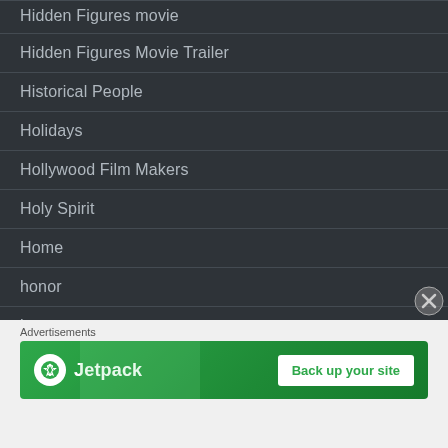Hidden Figures movie
Hidden Figures Movie Trailer
Historical People
Holidays
Hollywood Film Makers
Holy Spirit
Home
honor
hope
horror
Advertisements
[Figure (other): Jetpack advertisement banner with logo and 'Back up your site' button on green background]